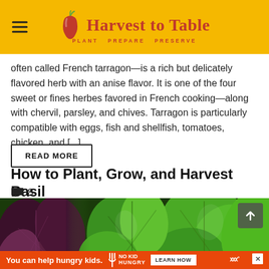Harvest to Table — PLANT PREPARE PRESERVE
often called French tarragon—is a rich but delicately flavored herb with an anise flavor. It is one of the four sweet or fines herbes favored in French cooking—along with chervil, parsley, and chives. Tarragon is particularly compatible with eggs, fish and shellfish, tomatoes, chicken, and [...]
READ MORE
How to Plant, Grow, and Harvest Basil
8
[Figure (photo): Close-up photo of basil leaves including purple/red basil on the left and bright green basil on the right, filling the full width of the image area.]
You can help hungry kids. NO KID HUNGRY LEARN HOW